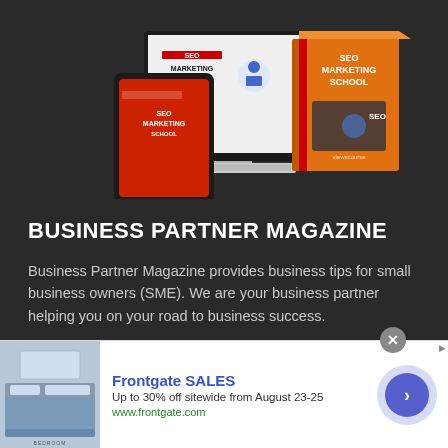[Figure (photo): Product mockup showing SEO Marketing School book, displayed on a tablet, desktop monitor, and a 3D box packaging against a dark background]
BUSINESS PARTNER MAGAZINE
Business Partner Magazine provides business tips for small business owners (SME). We are your business partner helping you on your road to business success.
Have a look around the site to discover a wealth of business-
[Figure (photo): Advertisement banner: Frontgate SALES - Up to 30% off sitewide from August 23-25, www.frontgate.com, with bedroom image and circular arrow button]